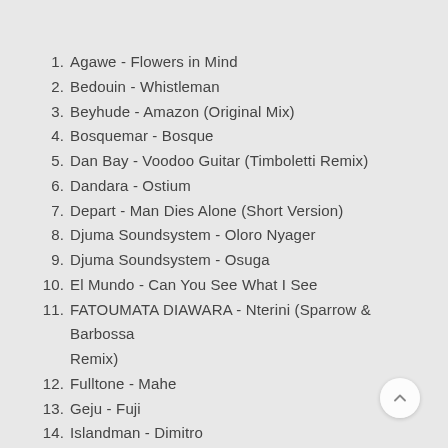1. Agawe - Flowers in Mind
2. Bedouin - Whistleman
3. Beyhude - Amazon (Original Mix)
4. Bosquemar - Bosque
5. Dan Bay - Voodoo Guitar (Timboletti Remix)
6. Dandara - Ostium
7. Depart - Man Dies Alone (Short Version)
8. Djuma Soundsystem - Oloro Nyager
9. Djuma Soundsystem - Osuga
10. El Mundo - Can You See What I See
11. FATOUMATA DIAWARA - Nterini (Sparrow & Barbossa Remix)
12. Fulltone - Mahe
13. Geju - Fuji
14. Islandman - Dimitro
15. Islandman - Sumeru